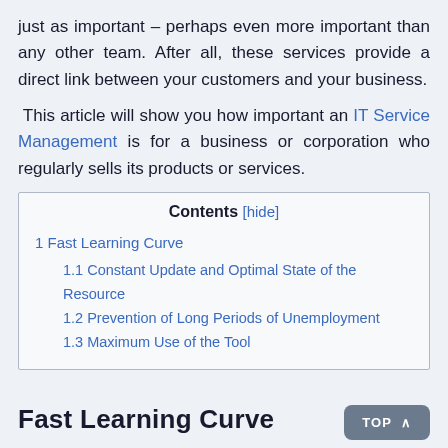just as important – perhaps even more important than any other team. After all, these services provide a direct link between your customers and your business.
This article will show you how important an IT Service Management is for a business or corporation who regularly sells its products or services.
| Contents [hide] |
| --- |
| 1 Fast Learning Curve |
| 1.1 Constant Update and Optimal State of the Resource |
| 1.2 Prevention of Long Periods of Unemployment |
| 1.3 Maximum Use of the Tool |
Fast Learning Curve